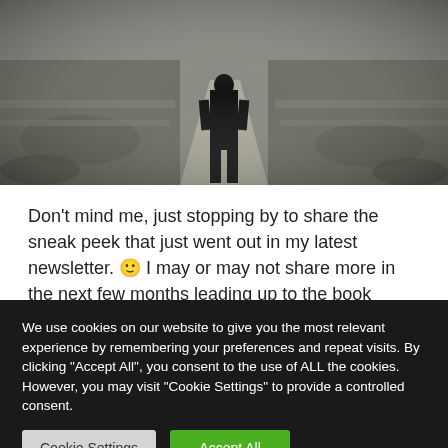[Figure (photo): A person standing on a winding rural road viewed from behind, in dark clothing, with a desaturated/sepia-toned landscape on both sides of the road]
Don't mind me, just stopping by to share the sneak peek that just went out in my latest newsletter. 🙂 I may or may not share more in the next few months leading up to the book signings. Speaking of which, if you're planning to come see
We use cookies on our website to give you the most relevant experience by remembering your preferences and repeat visits. By clicking "Accept All", you consent to the use of ALL the cookies. However, you may visit "Cookie Settings" to provide a controlled consent.